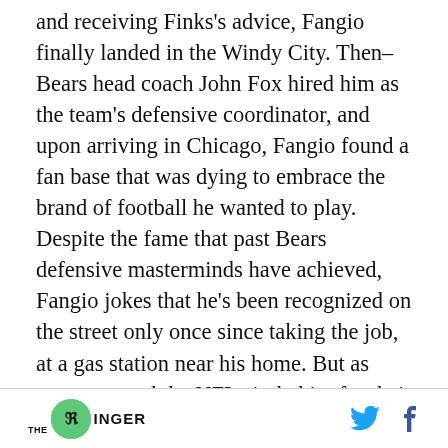and receiving Finks's advice, Fangio finally landed in the Windy City. Then–Bears head coach John Fox hired him as the team's defensive coordinator, and upon arriving in Chicago, Fangio found a fan base that was dying to embrace the brand of football he wanted to play. Despite the fame that past Bears defensive masterminds have achieved, Fangio jokes that he's been recognized on the street only once since taking the job, at a gas station near his home. But as teams around the NFL circle him for their head-coaching vacancies, it's clear just how beloved Fangio and his work
THE RINGER